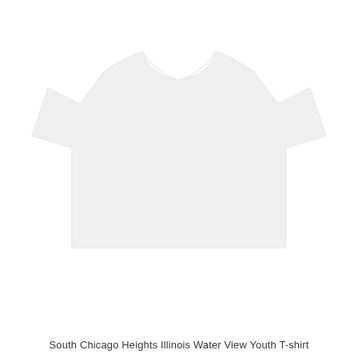[Figure (photo): A faint, nearly white product image of a youth t-shirt, very light and barely visible against a white background.]
South Chicago Heights Illinois Water View Youth T-shirt